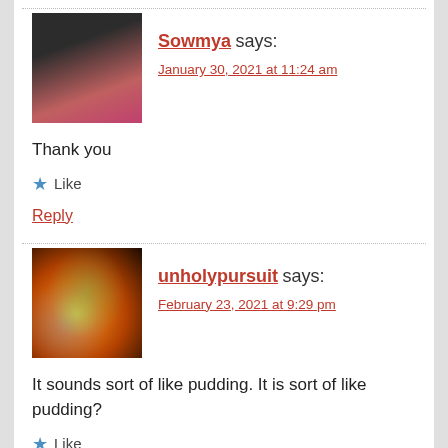[Figure (photo): Avatar photo of Sowmya, a woman with dark hair wearing a pink top]
Sowmya says:
January 30, 2021 at 11:24 am
Thank you
★ Like
Reply
[Figure (photo): Avatar image of unholypursuit, a fantasy/mythical bird creature with flames]
unholypursuit says:
February 23, 2021 at 9:29 pm
It sounds sort of like pudding. It is sort of like pudding?
★ Like